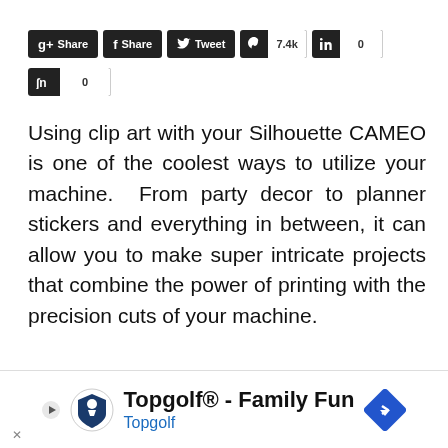[Figure (screenshot): Social media share buttons: g+ Share, f Share, Tweet, Pinterest 7.4k, LinkedIn 0, StumbleUpon 0]
Using clip art with your Silhouette CAMEO is one of the coolest ways to utilize your machine. From party decor to planner stickers and everything in between, it can allow you to make super intricate projects that combine the power of printing with the precision cuts of your machine.
[Figure (screenshot): Topgolf® - Family Fun advertisement banner with Topgolf logo and navigation arrow]